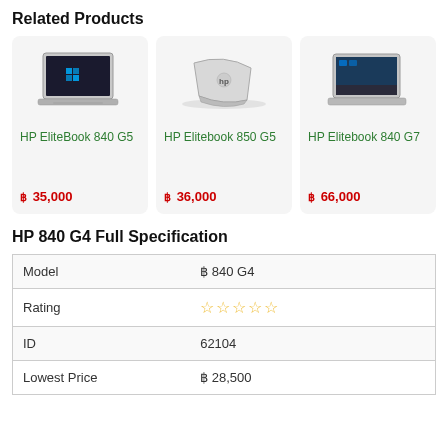Related Products
[Figure (photo): HP EliteBook 840 G5 laptop photo - silver laptop with black screen showing Windows logo]
HP EliteBook 840 G5
฿ 35,000
[Figure (photo): HP Elitebook 850 G5 laptop photo - silver laptop seen from behind/side]
HP Elitebook 850 G5
฿ 36,000
[Figure (photo): HP Elitebook 840 G7 laptop photo - silver laptop with Windows 10 desktop visible]
HP Elitebook 840 G7
฿ 66,000
HP 840 G4 Full Specification
| Model | ฿ 840 G4 |
| Rating | ☆☆☆☆☆ |
| ID | 62104 |
| Lowest Price | ฿ 28,500 |